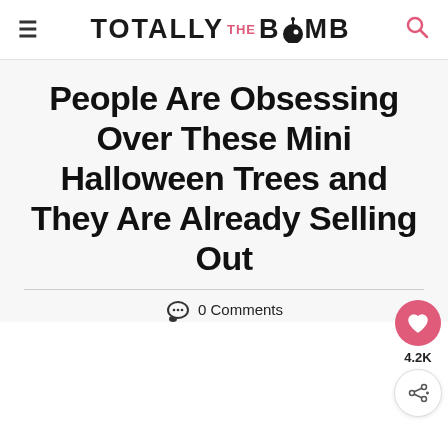TOTALLY THE BOMB
People Are Obsessing Over These Mini Halloween Trees and They Are Already Selling Out
0 Comments